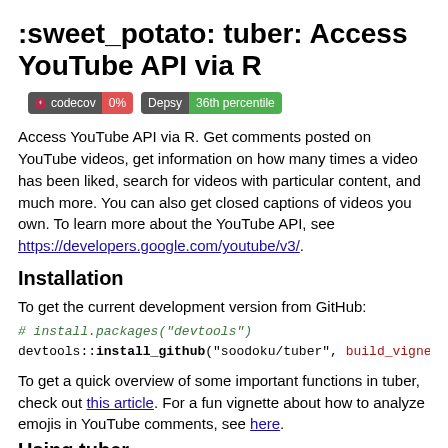:sweet_potato: tuber: Access YouTube API via R
[Figure (other): Two badges: codecov 0% and Depsy 36th percentile]
Access YouTube API via R. Get comments posted on YouTube videos, get information on how many times a video has been liked, search for videos with particular content, and much more. You can also get closed captions of videos you own. To learn more about the YouTube API, see https://developers.google.com/youtube/v3/.
Installation
To get the current development version from GitHub:
# install.packages("devtools")
devtools::install_github("soodoku/tuber", build_vignette
To get a quick overview of some important functions in tuber, check out this article. For a fun vignette about how to analyze emojis in YouTube comments, see here.
Using tuber